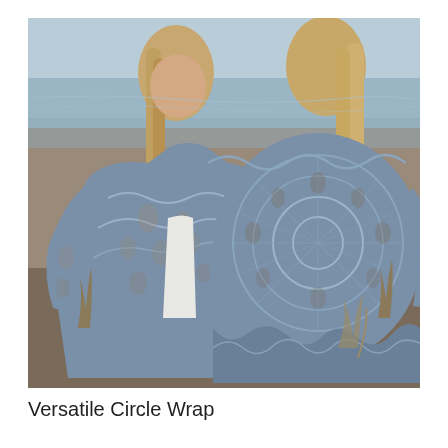[Figure (photo): Two women on a beach wearing blue-grey lacy crochet circle wrap cardigans. One woman faces forward showing the front of the garment, the other faces away showing the back. The garment has an intricate open lace crochet pattern in a dusty blue/grey color.]
Versatile Circle Wrap